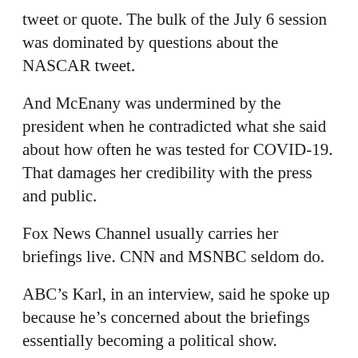tweet or quote. The bulk of the July 6 session was dominated by questions about the NASCAR tweet.
And McEnany was undermined by the president when he contradicted what she said about how often he was tested for COVID-19. That damages her credibility with the press and public.
Fox News Channel usually carries her briefings live. CNN and MSNBC seldom do.
ABC’s Karl, in an interview, said he spoke up because he’s concerned about the briefings essentially becoming a political show.
“I didn’t do this lightly,” he said. “I did it because I really believe that there is a danger that it will set a precedent for future press secretaries and future presidents. And it really cannot. This needs to be an aberration.”
Politics in the White House? It could be a line from